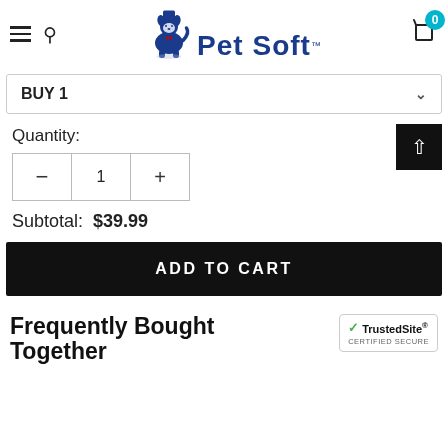Pet Soft
BUY 1
Quantity:
1
Subtotal:  $39.99
ADD TO CART
Frequently Bought Together